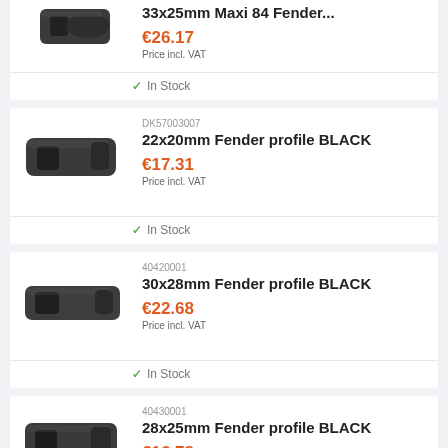[Figure (photo): Black rubber fender profile 33x25mm Maxi 84, partial view at top]
33x25mm Maxi 84 Fender...
€26.17
Price incl. VAT
✓ In Stock
[Figure (photo): Black rubber U-shaped fender profile 22x20mm]
DK57003007
22x20mm Fender profile BLACK
€17.31
Price incl. VAT
✓ In Stock
[Figure (photo): Black rubber fender profile 30x28mm]
40420001
30x28mm Fender profile BLACK
€22.68
Price incl. VAT
✓ In Stock
[Figure (photo): Black rubber fender profile 28x25mm]
40430001
28x25mm Fender profile BLACK
€16.78